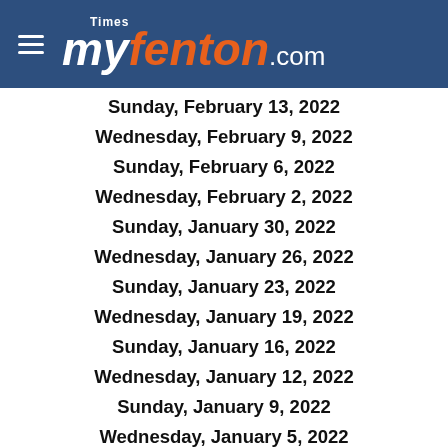Times myfenton.com
Sunday, February 13, 2022
Wednesday, February 9, 2022
Sunday, February 6, 2022
Wednesday, February 2, 2022
Sunday, January 30, 2022
Wednesday, January 26, 2022
Sunday, January 23, 2022
Wednesday, January 19, 2022
Sunday, January 16, 2022
Wednesday, January 12, 2022
Sunday, January 9, 2022
Wednesday, January 5, 2022